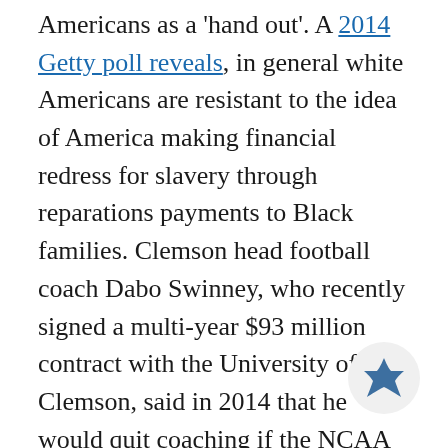Americans as a 'hand out'. A 2014 Getty poll reveals, in general white Americans are resistant to the idea of America making financial redress for slavery through reparations payments to Black families. Clemson head football coach Dabo Swinney, who recently signed a multi-year $93 million contract with the University of Clemson, said in 2014 that he would quit coaching if the NCAA decided to pay the players. Swinney's team is largely constructed of Black players and though Swinney does not say that he has an issue with who gets paid specifically, he did call the notion of paying the players an issue of players feeling entitled. It's difficult to call players who are d athletic revenues up entitled for wanting compensation for what they help create for the
[Figure (illustration): A blue/dark teal star shape icon inside a circular light gray button, positioned at bottom right of the page.]